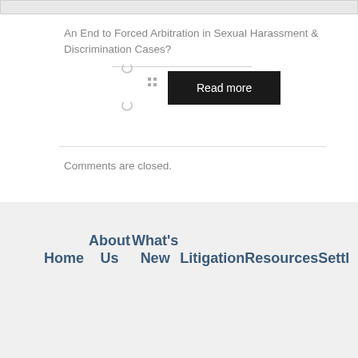[Figure (other): Gray image placeholder bar at top of page]
An End to Forced Arbitration in Sexual Harassment & Discrimination Cases?
[Figure (other): Horizontal divider line with spinner icons and grid dots, followed by a Read more button]
Comments are closed.
Home  About Us  What's New  Litigation  Resources  Settl